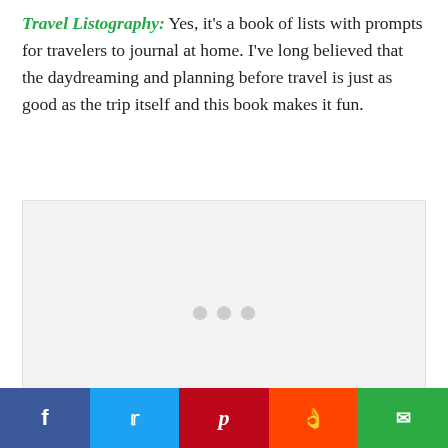Travel Listography: Yes, it's a book of lists with prompts for travelers to journal at home. I've long believed that the daydreaming and planning before travel is just as good as the trip itself and this book makes it fun.
[Figure (other): Advertisement placeholder box with three gray dots indicating loading content]